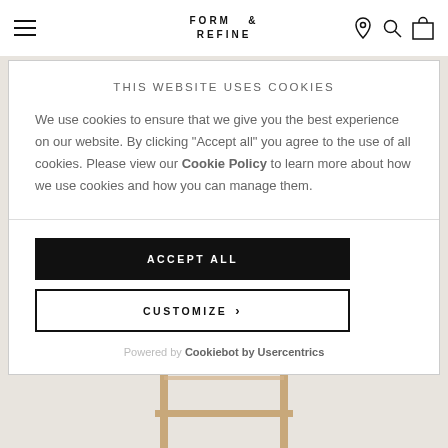FORM & REFINE
THIS WEBSITE USES COOKIES
We use cookies to ensure that we give you the best experience on our website. By clicking "Accept all" you agree to the use of all cookies. Please view our Cookie Policy to learn more about how we use cookies and how you can manage them.
ACCEPT ALL
CUSTOMIZE
Powered by Cookiebot by Usercentrics
[Figure (photo): Wooden furniture frame visible at bottom of page behind cookie dialog]